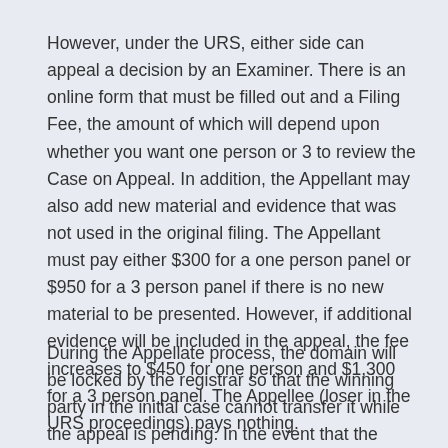However, under the URS, either side can appeal a decision by an Examiner. There is an online form that must be filled out and a Filing Fee, the amount of which will depend upon whether you want one person or 3 to review the Case on Appeal. In addition, the Appellant may also add new material and evidence that was not used in the original filing. The Appellant must pay either $300 for a one person panel or $950 for a 3 person panel if there is no new material to be presented. However, if additional evidence will be included in the appeal, the fee increases to $450 for one person and $1,300 for a 3 person panel. The Appellee (loser in the URS proceedings) pays nothing.
During the Appellate process, the domain will be locked by the registrar so that the winning party in the initial case cannot transfer it while the appeal is pending. In the event that the Appellant elected a one person panel,